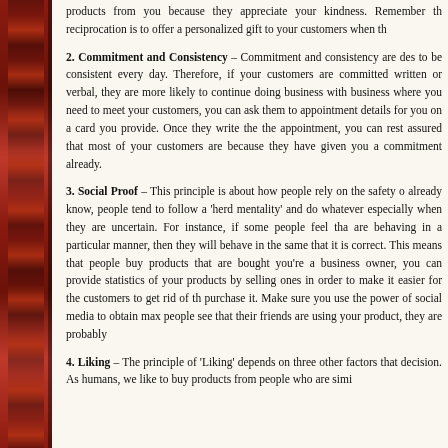products from you because they appreciate your kindness. Remember that reciprocation is to offer a personalized gift to your customers when th
2. Commitment and Consistency – Commitment and consistency are designed to be consistent every day. Therefore, if your customers are committed, written or verbal, they are more likely to continue doing business with business where you need to meet your customers, you can ask them to appointment details for you on a card you provide. Once they write the the appointment, you can rest assured that most of your customers are because they have given you a commitment already.
3. Social Proof – This principle is about how people rely on the safety o already know, people tend to follow a 'herd mentality' and do whatever especially when they are uncertain. For instance, if some people feel tha are behaving in a particular manner, then they will behave in the same that it is correct. This means that people buy products that are bought you're a business owner, you can provide statistics of your products by selling ones in order to make it easier for the customers to get rid of th purchase it. Make sure you use the power of social media to obtain max people see that their friends are using your product, they are probably
4. Liking – The principle of 'Liking' depends on three other factors that decision. As humans, we like to buy products from people who are simi